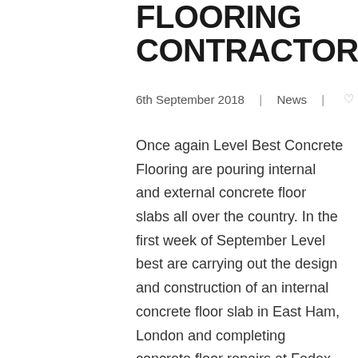FLOORING CONTRACTORS
6th September 2018  |  News  |  ♡ 0
Once again Level Best Concrete Flooring are pouring internal and external concrete floor slabs all over the country. In the first week of September Level best are carrying out the design and construction of an internal concrete floor slab in East Ham, London and completing concrete floor repairs at Fedex, Bedford. The second week of September sees Level Best carrying out the removal and replacement of an existing warehouse concrete floor slab in